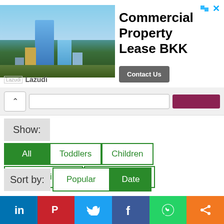[Figure (screenshot): Advertisement banner for Commercial Property Lease BKK by Lazudi, showing city skyline photo, title text, and Contact Us button]
Show: All | Toddlers | Children | Older Children | Young Adults
Sort by: Popular | Date
[Figure (screenshot): Bottom thumbnail area showing green and purple MVP Mathematics Vision Project cards]
[Figure (screenshot): Social sharing bar with LinkedIn, Pinterest, Twitter, Facebook, WhatsApp, and share icons]